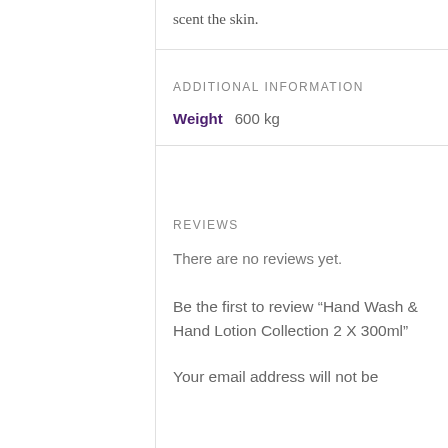scent the skin.
ADDITIONAL INFORMATION
Weight    600 kg
REVIEWS
There are no reviews yet.
Be the first to review “Hand Wash & Hand Lotion Collection 2 X 300ml”
Your email address will not be